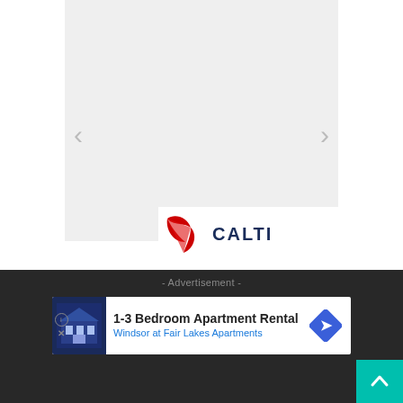[Figure (screenshot): A light gray placeholder image area with navigation arrows on left and right sides, and a partial company logo (CALTI with a red bird/wing icon) visible at the bottom center of the image carousel area.]
- Advertisement -
[Figure (screenshot): Advertisement banner for Windsor at Fair Lakes Apartments showing '1-3 Bedroom Apartment Rental' with a blue apartment image thumbnail, info and close icons on the left, and a blue directional arrow icon on the right.]